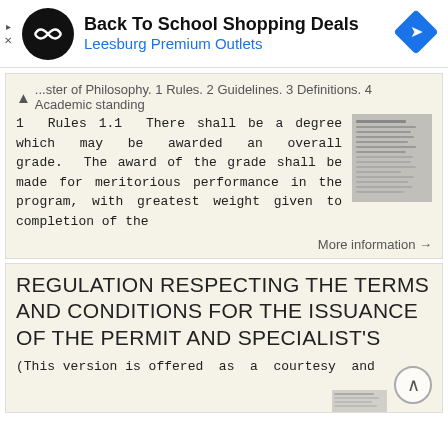[Figure (infographic): Ad banner: Back To School Shopping Deals at Leesburg Premium Outlets with logo and navigation arrow icon]
...ster of Philosophy. 1 Rules. 2 Guidelines. 3 Definitions. 4 Academic standing
1 Rules 1.1 There shall be a degree which may be awarded an overall grade. The award of the grade shall be made for meritorious performance in the program, with greatest weight given to completion of the
More information →
REGULATION RESPECTING THE TERMS AND CONDITIONS FOR THE ISSUANCE OF THE PERMIT AND SPECIALIST'S
(This version is offered as a courtesy and